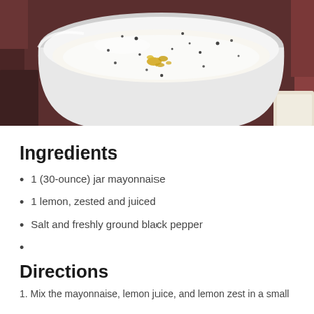[Figure (photo): A white ceramic bowl or cup viewed from above containing a creamy white mayonnaise-like mixture with yellow lemon zest pieces and freshly ground black pepper scattered on top, sitting on a dark red/brown background]
Ingredients
1 (30-ounce) jar mayonnaise
1 lemon, zested and juiced
Salt and freshly ground black pepper
Directions
Mix the mayonnaise, lemon juice, and lemon zest in a small...